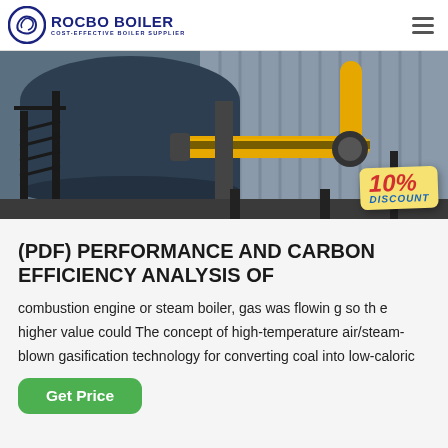ROCBO BOILER — COST-EFFECTIVE BOILER SUPPLIER
[Figure (photo): Industrial boiler installation with yellow pipes and metal staircase; 10% DISCOUNT badge overlay]
(PDF) PERFORMANCE AND CARBON EFFICIENCY ANALYSIS OF
combustion engine or steam boiler, gas was flowin g so th e higher value could The concept of high-temperature air/steam-blown gasification technology for converting coal into low-caloric
Get Price